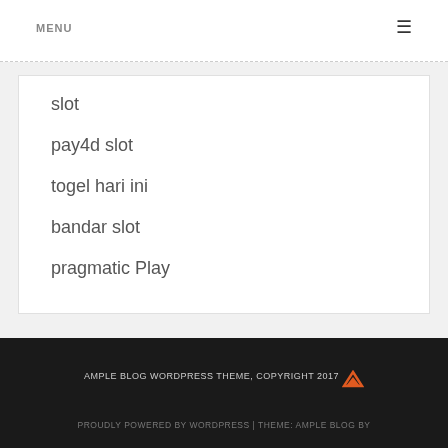MENU
slot
pay4d slot
togel hari ini
bandar slot
pragmatic Play
AMPLE BLOG WORDPRESS THEME, COPYRIGHT 2017
PROUDLY POWERED BY WORDPRESS | THEME: AMPLE BLOG BY